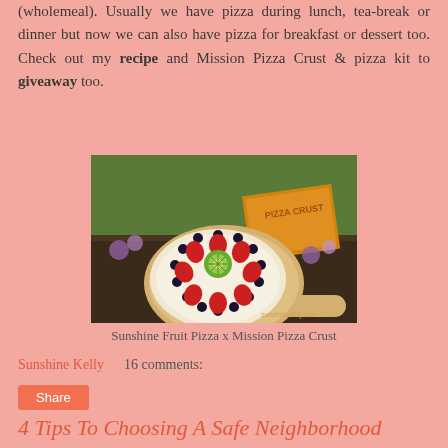(wholemeal). Usually we have pizza during lunch, tea-break or dinner but now we can also have pizza for breakfast or dessert too. Check out my recipe and Mission Pizza Crust & pizza kit to giveaway too.
[Figure (photo): A fruit pizza decorated with strawberries, kiwi slices, and blueberries on a wooden pizza paddle, with a Mission Pizza Crust box in the background and flowers around it.]
Sunshine Fruit Pizza x Mission Pizza Crust
Sunshine Kelly    16 comments:
Share
4 Tips To Choosing A Safe Neighborhood